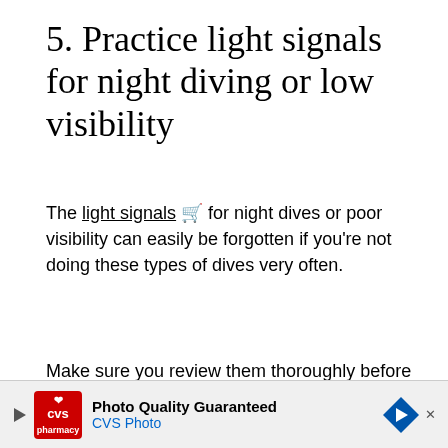5. Practice light signals for night diving or low visibility
The light signals 🛒 for night dives or poor visibility can easily be forgotten if you're not doing these types of dives very often.
Make sure you review them thoroughly before starting your dive.
6. Remember Limits of Talking
[Figure (other): CVS Photo advertisement banner at bottom of page. Shows CVS pharmacy logo, text 'Photo Quality Guaranteed' and 'CVS Photo', with a blue directional arrow icon.]